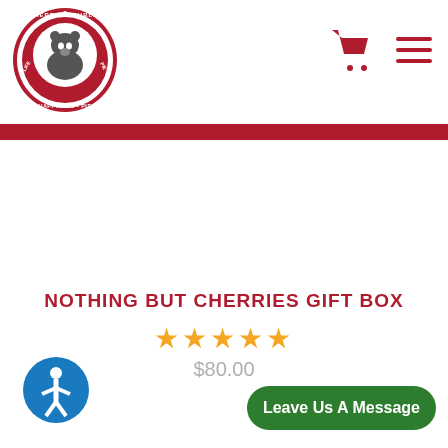[Figure (logo): Cherry Republic circular logo with bear and text: Cherry Republic, Life, Liberty, Happiness, Pie]
NOTHING BUT CHERRIES GIFT BOX
★★★★★
$80.00
[Figure (illustration): Circular accessibility icon button — blue circle with white human figure]
Leave Us A Message